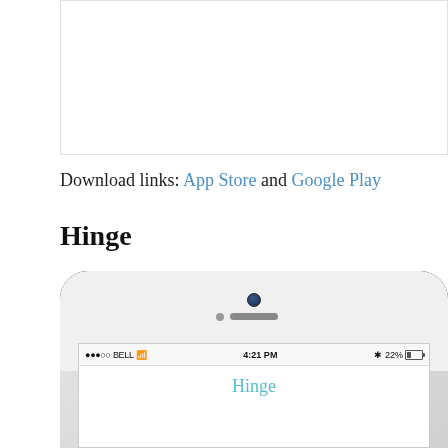[Figure (screenshot): Empty white rectangular image area at the top of the page]
Download links: App Store and Google Play
Hinge
[Figure (photo): Photo of an iPhone (white) showing the top portion of the device including camera, speaker, and screen with status bar showing '●●●○○ BELL WiFi 4:21 PM * 22%' and the Hinge app name in teal/cyan color]